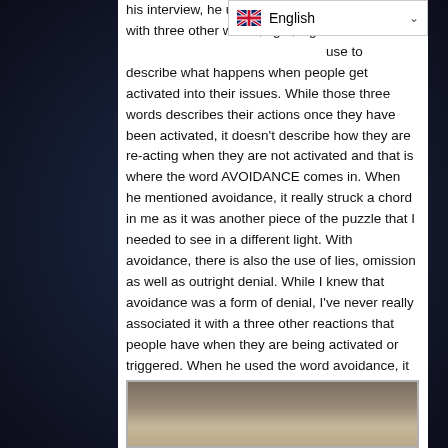his interview, he used the word avoidance along with three other words, fight, flight and one other, they use to describe what happens when people get activated into their issues. While those three words describes their actions once they have been activated, it doesn't describe how they are re-acting when they are not activated and that is where the word AVOIDANCE comes in. When he mentioned avoidance, it really struck a chord in me as it was another piece of the puzzle that I needed to see in a different light. With avoidance, there is also the use of lies, omission as well as outright denial. While I knew that avoidance was a form of denial, I've never really associated it with a three other reactions that people have when they are being activated or triggered. When he used the word avoidance, it became blatantly obvious that avoidance is the main method used to avoid having to face what you are denying and not wanting to face, because if you did, you would get activated you then react with the other three choices.
[Figure (photo): Partial photo of a person (appears to be an older individual) at the bottom of the page, cropped showing head/upper area]